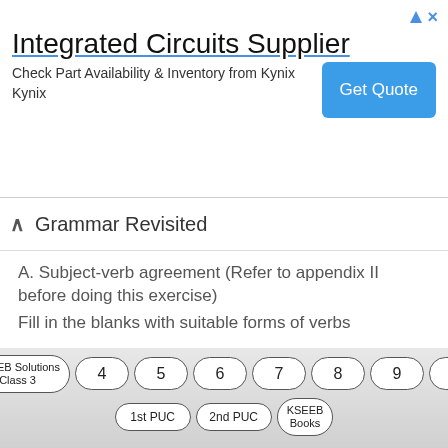[Figure (other): Advertisement banner for Integrated Circuits Supplier - Kynix, with Get Quote button]
Grammar Revisited
A. Subject-verb agreement (Refer to appendix II before doing this exercise)
Fill in the blanks with suitable forms of verbs
The number of visitors (was/were) really large in the last week's School Day celebrations.
The rapidity of these movements (is/are) beyond expectation.
KSEEB Solutions Class 3  4  5  6  7  8  9  10  1st PUC  2nd PUC  KSEEB Books